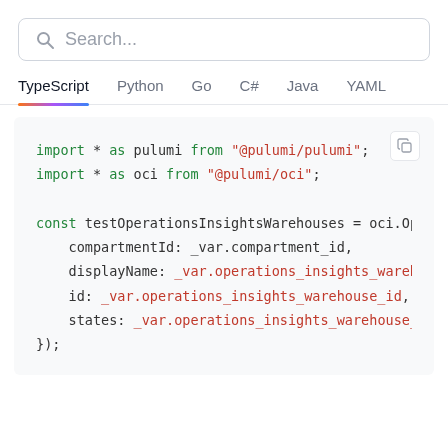[Figure (screenshot): Search bar UI element with magnifying glass icon and placeholder text 'Search...']
[Figure (screenshot): Language tab bar with TypeScript (active/underlined), Python, Go, C#, Java, YAML tabs]
[Figure (screenshot): TypeScript code block showing import statements and a function call to oci.Opsi with compartmentId, displayName, id, and states parameters]